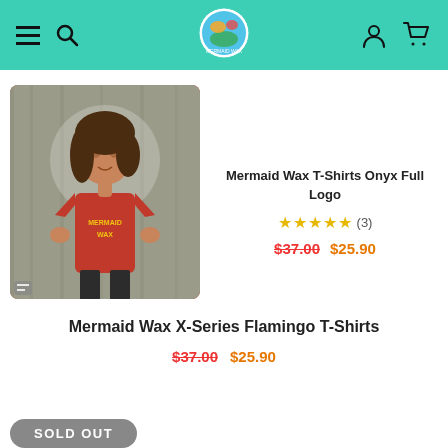Navigation bar with hamburger menu, search icon, logo, user icon, and cart icon
[Figure (photo): Woman wearing a red Mermaid Wax t-shirt with yellow logo, standing in front of a wooden background]
Mermaid Wax T-Shirts Onyx Full Logo
★★★★★ (3)
$37.00  $25.90
Mermaid Wax X-Series Flamingo T-Shirts
$37.00  $25.90
SOLD OUT